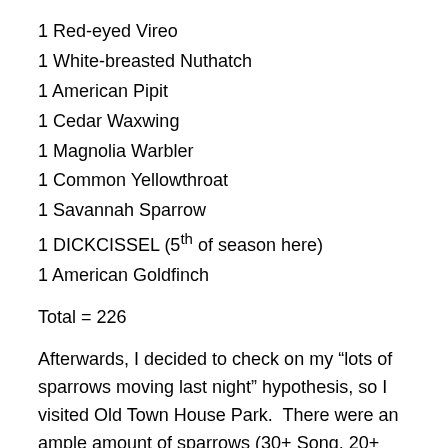1 Red-eyed Vireo
1 White-breasted Nuthatch
1 American Pipit
1 Cedar Waxwing
1 Magnolia Warbler
1 Common Yellowthroat
1 Savannah Sparrow
1 DICKCISSEL (5th of season here)
1 American Goldfinch
Total = 226
Afterwards, I decided to check on my “lots of sparrows moving last night” hypothesis, so I visited Old Town House Park.  There were an ample amount of sparrows (30+ Song, 20+ Swamp, a small number of White-throated, 2 Lincoln’s, 1 Savannah, and 1 White-crowned), but not